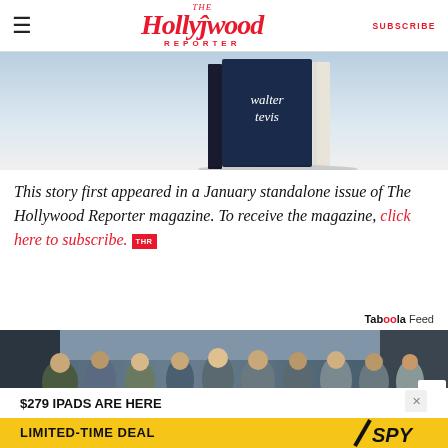The Hollywood Reporter — SUBSCRIBE
[Figure (photo): Book cover showing 'walter tevis' text on dark blue cover, partially visible at top of page]
This story first appeared in a January standalone issue of The Hollywood Reporter magazine. To receive the magazine, click here to subscribe. THR
[Figure (photo): Taboola Feed section showing a group photo of people in blue shirts standing on a city street]
[Figure (photo): Advertisement banner: $279 IPADS ARE HERE LIMITED-TIME DEAL with SPY logo]